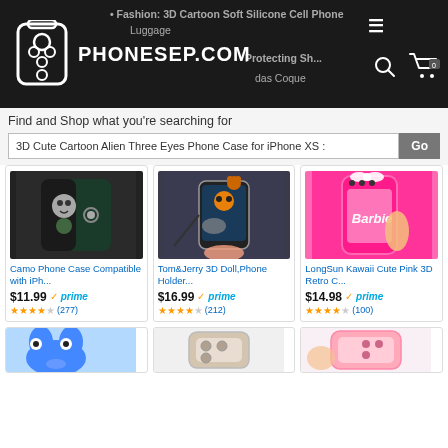PHONESEP.COM — Fashion: 3D Cartoon Soft Silicone Cell Phone Luggage Protecting Sh... das Coque
Find and Shop what you're searching for
3D Cute Cartoon Alien Three Eyes Phone Case for iPhone XS :
[Figure (photo): Product photo: Camo Phone Case]
Camo Phone Case Compatible with iPh...
$11.99 prime (277)
[Figure (photo): Product photo: Tom&Jerry 3D Doll Phone Holder]
Tom&Jerry 3D Doll,Phone Holder...
$16.99 prime (212)
[Figure (photo): Product photo: LongSun Kawaii Cute Pink 3D Retro C...]
LongSun Kawaii Cute Pink 3D Retro C...
$14.98 prime (100)
[Figure (photo): Partial product images row at bottom]
[Figure (photo): Partial product images row at bottom]
[Figure (photo): Partial product images row at bottom]